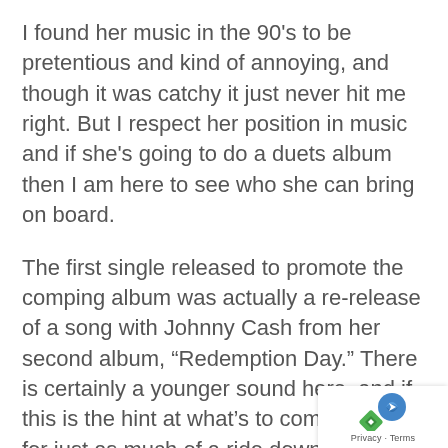I found her music in the 90's to be pretentious and kind of annoying, and though it was catchy it just never hit me right. But I respect her position in music and if she's going to do a duets album then I am here to see who she can bring on board.
The first single released to promote the comping album was actually a re-release of a song with Johnny Cash from her second album, “Redemption Day.” There is certainly a younger sound here, and if this is the hint at what’s to come, we’re in for just as much of a ride down memory lane in Crow’s career and friendships made. And hey, it’s always good to hear The Man In Black again.